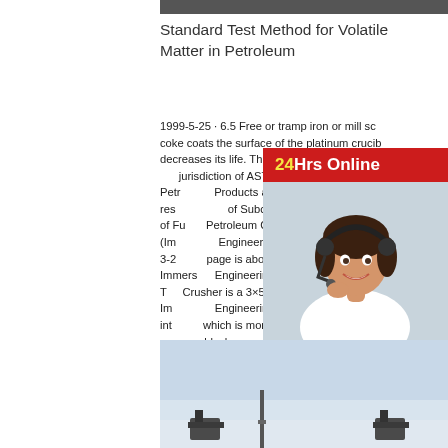[Figure (photo): Top banner image strip, appears to be industrial/engineering site]
Standard Test Method for Volatile Matter in Petroleum
1999-5-25 · 6.5 Free or tramp iron or mill scale in the coke coats the surface of the platinum crucible and decreases its life. The 1 This test method is under the jurisdiction of ASTM Committee D-2 on Petroleum Products and Lubricantsand is the direct responsibility of Subcommittee D02.05 on Properties of Fuels, Petroleum Coke, and Oil Shale.Crusher (Immersive Engineering) Feed The Beast Wiki,2022-3-2· This page is about the Crusher added by Immersive Engineering. For other uses, see Crusher. The Crusher is a 3×5×3 multiblock added by Immersive Engineering. It is used for crushing ores into grit, which is more efficient than normal smelting. Once all blocks are assembled, use the Engineer's Hammer on the center of the front of the longer side (which
[Figure (infographic): 24Hrs Online chat widget with female agent wearing headset]
[Figure (photo): Bottom image showing industrial/outdoor engineering site with equipment in snowy or bright conditions]